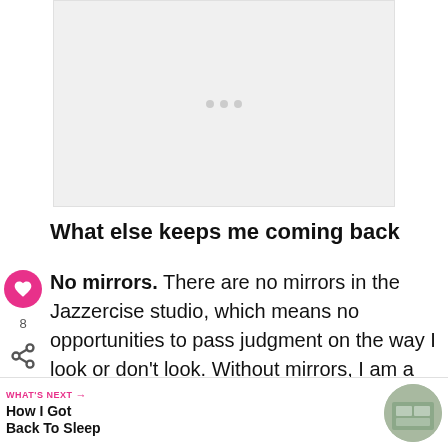[Figure (other): Advertisement placeholder area with light gray background and three small gray dots centered in it]
What else keeps me coming back
No mirrors. There are no mirrors in the Jazzercise studio, which means no opportunities to pass judgment on the way I look or don't look. Without mirrors, I am a [some]ween Jennifer Beals in Flashdance and JLo at the Super Bowl halftime show. I
[Figure (other): WHAT'S NEXT navigation bar with heart icon, share icon, thumbnail image, and How I Got Back To Sleep label]